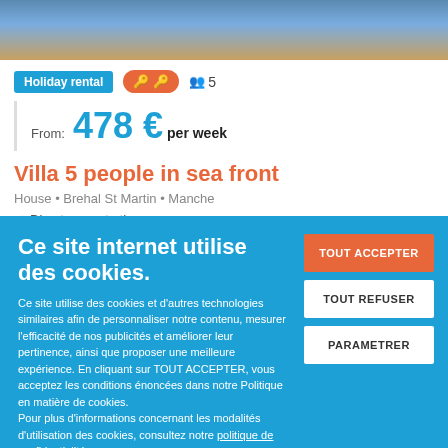[Figure (photo): Top portion of a holiday rental listing photo showing sky and golden/hay background with structure visible]
Holiday rental  🔑 🔑  👥 5
From: 478 € per week
Villa 5 people in sea front
House • Brehal St Martin • Manche
Direct acces to the sea
Ce site internet utilise des cookies.
Ce site utilise des cookies et d'autres technologies similaires afin de personnaliser notre contenu, mesurer l'efficacité de nos publicités et améliorer leur pertinence, ainsi que proposer une meilleure expérience. En cliquant sur TOUT ACCEPTER, vous acceptez les conditions énoncées dans notre Politique en matière de cookies.
Pour plus d'informations concernant les modalités d'utilisation des cookies, consultez notre politique de confidentialité.
Pour modifier vos préférences, vous devez mettre paramétrer vos préférences de cookies.
TOUT ACCEPTER
TOUT REFUSER
PARAMETRER